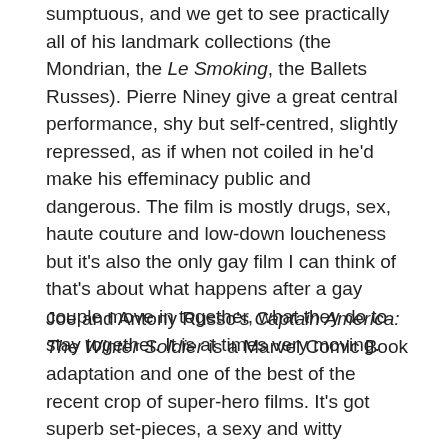sumptuous, and we get to see practically all of his landmark collections (the Mondrian, the Le Smoking, the Ballets Russes). Pierre Niney give a great central performance, shy but self-centred, slightly repressed, as if when not coiled in he'd make his effeminacy public and dangerous. The film is mostly drugs, sex, haute couture and low-down loucheness but it's also the only gay film I can think of that's about what happens after a gay couple move in together, what they do to stay together. It is at times very moving.
Joe and Antony Russo's Captain America: The Winter Soldier is a Marvel Comic Book adaptation and one of the best of the recent crop of super-hero films. It's got superb set-pieces, a sexy and witty performance from Scarlett Johansson as The Black Widow and is part of a series of films (The Place Beyond the Pines is one of many that fit